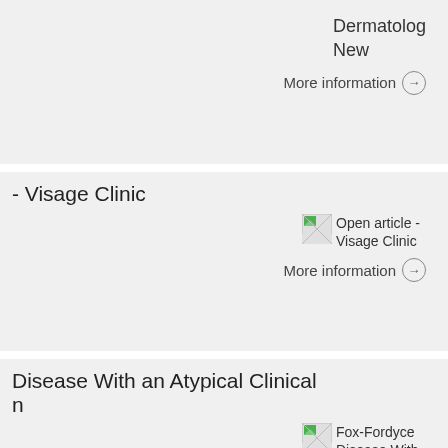Dermatolog
New
More information →
- Visage Clinic
[Figure (illustration): Thumbnail image broken/placeholder icon labeled 'Open article - Visage Clinic']
More information →
Disease With an Atypical Clinical
n
[Figure (illustration): Thumbnail image broken/placeholder icon labeled 'Fox-Fordyce Disease With an']